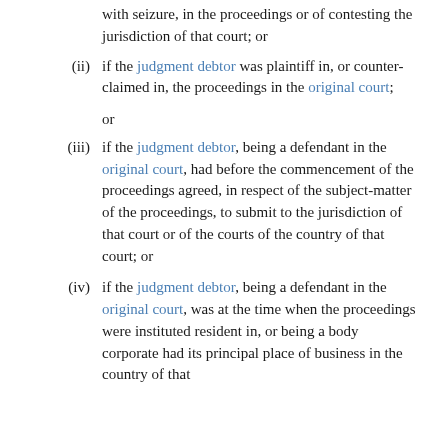with seizure, in the proceedings or of contesting the jurisdiction of that court; or
(ii) if the judgment debtor was plaintiff in, or counter-claimed in, the proceedings in the original court;
or
(iii) if the judgment debtor, being a defendant in the original court, had before the commencement of the proceedings agreed, in respect of the subject-matter of the proceedings, to submit to the jurisdiction of that court or of the courts of the country of that court; or
(iv) if the judgment debtor, being a defendant in the original court, was at the time when the proceedings were instituted resident in, or being a body corporate had its principal place of business in the country of that court;